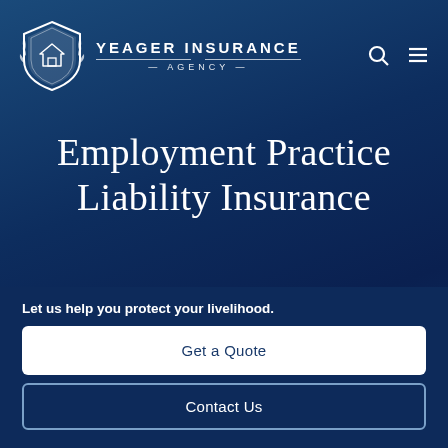[Figure (logo): Yeager Insurance Agency logo with shield emblem and laurel wreath, white on dark blue background]
Employment Practice Liability Insurance
We have your business covered.
Let us help you protect your livelihood.
Get a Quote
Contact Us